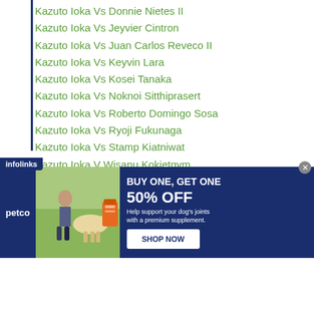Kazuto Ioka Vs Donnie Nietes II
Kazuto Ioka Vs Jeyvier Cintron
Kazuto Ioka Vs Juan Carlos Reveco II
Kazuto Ioka Vs Keyvin Lara
Kazuto Ioka Vs Kosei Tanaka
Kazuto Ioka Vs Noknoi Sitthiprasert
Kazuto Ioka Vs Roberto Domingo Sosa
Kazuto Ioka Vs Ryoji Fukunaga
Kazuto Ioka Vs Stamp Kiatniwat
Kazuto Ioka V Wisanu Kokietgym
Keita Obara
Keita Obara Vs Eduard Troyanovsky
Keith Thurman
Kell Brook
Kenichi Ogawa
Kenichi Ogawa Vs Azinga Fuzile
[Figure (screenshot): Petco advertisement banner: BUY ONE, GET ONE 50% OFF - Help support your dog's joints with a premium supplement. SHOP NOW button. Features woman with dog and product image. Infolinks tab visible.]